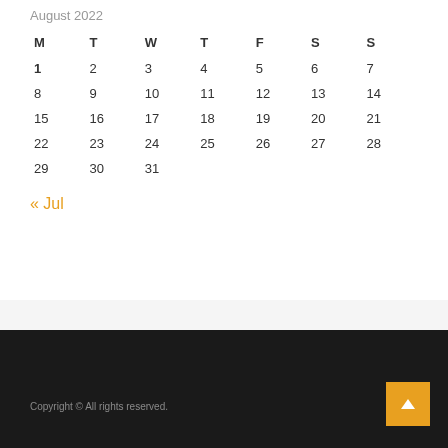August 2022
| M | T | W | T | F | S | S |
| --- | --- | --- | --- | --- | --- | --- |
| 1 | 2 | 3 | 4 | 5 | 6 | 7 |
| 8 | 9 | 10 | 11 | 12 | 13 | 14 |
| 15 | 16 | 17 | 18 | 19 | 20 | 21 |
| 22 | 23 | 24 | 25 | 26 | 27 | 28 |
| 29 | 30 | 31 |  |  |  |  |
« Jul
Copyright © All rights reserved.